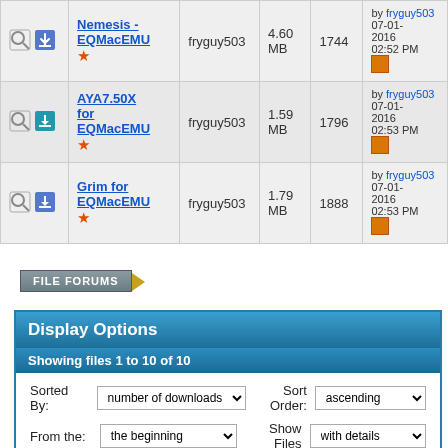| Icons | Name | User | Size | Downloads | Last Post |
| --- | --- | --- | --- | --- | --- |
| [icons] | Nemesis - EQMacEMU ★ | fryguy503 | 4.60 MB | 1744 | by fryguy503 07-01-2016 02:52 PM |
| [icons] | AYA7.50X for EQMacEMU ★ | fryguy503 | 1.59 MB | 1796 | by fryguy503 07-01-2016 02:53 PM |
| [icons] | Grim for EQMacEMU ★ | fryguy503 | 1.79 MB | 1888 | by fryguy503 07-01-2016 02:53 PM |
[Figure (logo): FILE FORUMS bar with triangle]
Display Options
Showing files 1 to 10 of 10
Sorted By: number of downloads  Sort Order: ascending
From the: the beginning  Show Files: with details
Show Files